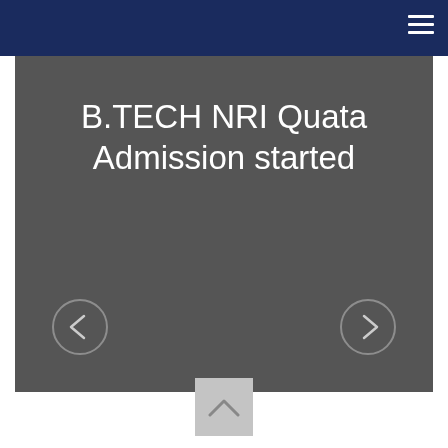B.TECH NRI Quata Admission started
[Figure (other): Slideshow navigation area with left and right arrow circle buttons and a dark gray background]
[Figure (other): Scroll-to-top button with upward-pointing chevron/triangle icon on light gray background]